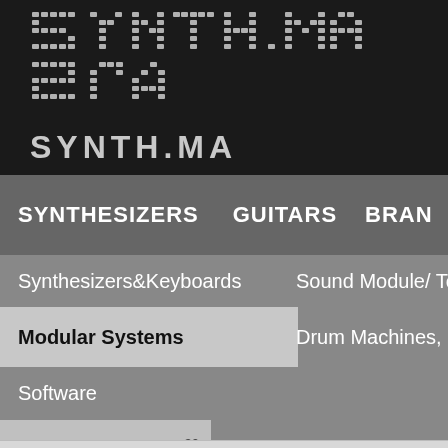[Figure (logo): Synth.ma website logo: large pixel-art style letters on black background, with 'SYNTH.MA' text below in stylized chunky font]
SYNTHESIZERS   GUITARS   BRAN
Synthesizers&Keyboards
Sound Module/ Tone G
Modular Systems
Drum Machines, Percussion S
Software
· Modular System30   Modular System Components